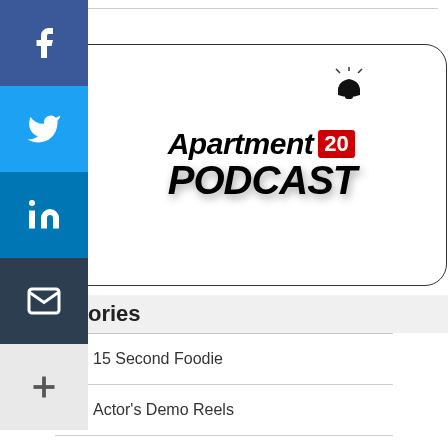[Figure (logo): Apartment 20 Podcast logo inside a rounded rectangle border. Shows a bell icon above the text 'Apartment 20 PODCAST' in bold italic black with a red badge showing '20'.]
Categories
15 Second Foodie
Actor's Demo Reels
Apartment 20 Podcast